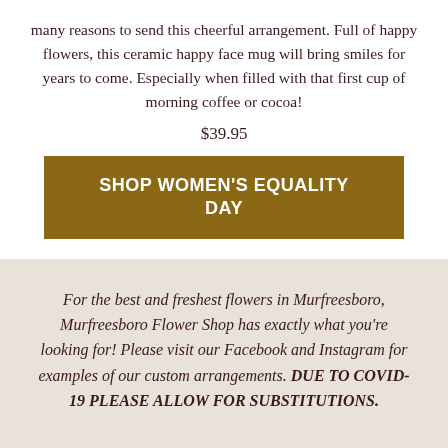many reasons to send this cheerful arrangement. Full of happy flowers, this ceramic happy face mug will bring smiles for years to come. Especially when filled with that first cup of morning coffee or cocoa!
$39.95
SHOP WOMEN'S EQUALITY DAY
For the best and freshest flowers in Murfreesboro, Murfreesboro Flower Shop has exactly what you’re looking for! Please visit our Facebook and Instagram for examples of our custom arrangements. DUE TO COVID-19 PLEASE ALLOW FOR SUBSTITUTIONS.